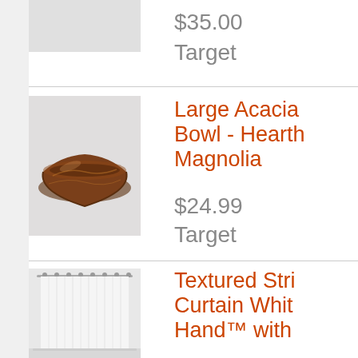$35.00
Target
[Figure (photo): Product image placeholder - gray rectangle]
Large Acacia Bowl - Hearth & Hand with Magnolia
$24.99
Target
[Figure (photo): Wooden acacia bowl on gray background]
Textured Stripe Shower Curtain White - Hand™ with
[Figure (photo): White textured stripe shower curtain hanging on rod]